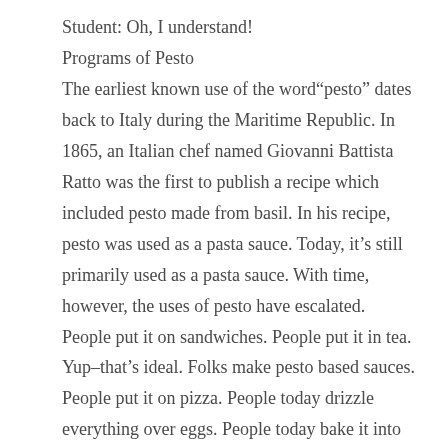Student: Oh, I understand!
Programs of Pesto
The earliest known use of the word“pesto” dates back to Italy during the Maritime Republic. In 1865, an Italian chef named Giovanni Battista Ratto was the first to publish a recipe which included pesto made from basil. In his recipe, pesto was used as a pasta sauce. Today, it’s still primarily used as a pasta sauce. With time, however, the uses of pesto have escalated. People put it on sandwiches. People put it in tea. Yup–that’s ideal. Folks make pesto based sauces. People put it on pizza. People today drizzle everything over eggs. People today bake it into bread. And, the writer’s personal favorite, some individuals have ingeniously mixed pesto into mayonnaise, thus forming a hybrid kind invention, a smooth and tangy creature. Some people may call it basil aioli, but do not be fooled. Pesto mayo is bottled lightning.
A Little Cloud